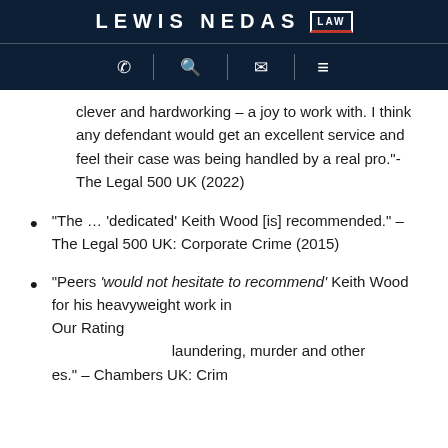LEWIS NEDAS LAW
clever and hardworking – a joy to work with. I think any defendant would get an excellent service and feel their case was being handled by a real pro."- The Legal 500 UK (2022)
"The … 'dedicated' Keith Wood [is] recommended." – The Legal 500 UK: Corporate Crime (2015)
"Peers 'would not hesitate to recommend' Keith Wood for his heavyweight work in [money laundering, murder and other offences]." – Chambers UK: Crim[e]
Our Rating
4.7 ★★★★★ Read our 191 reviews
"Keith Wood 'never gives up'." – The Legal